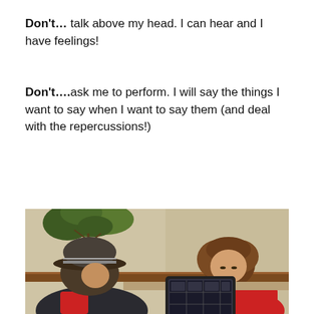Don't… talk above my head. I can hear and I have feelings!
Don't….ask me to perform. I will say the things I want to say when I want to say them (and deal with the repercussions!)
[Figure (photo): A child in a red shirt looking down at a tablet/AAC device on a table, with an adult wearing a grey hat leaning in. A plant is visible in the background.]